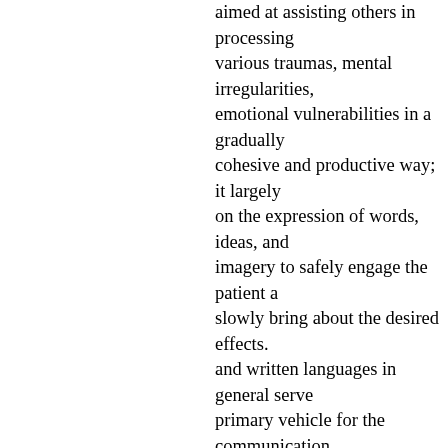aimed at assisting others in processing various traumas, mental irregularities, emotional vulnerabilities in a gradually cohesive and productive way; it largely on the expression of words, ideas, and imagery to safely engage the patient a slowly bring about the desired effects. and written languages in general serve primary vehicle for the communication ideas, and I've seen how so many of m English class discussions have been centered on searching for deeper them psychological meanings behind how th ideas have been articulated. I've also l to see Art as a form of communication reflection of one's soul and body worki tandem to present various concepts or psychological/emotional states in a mo visual form. This project represents a cathartic fusion of all three modes of h expression, in that it uses the English language like any other book to expres ideas, yet only as an artistic means to